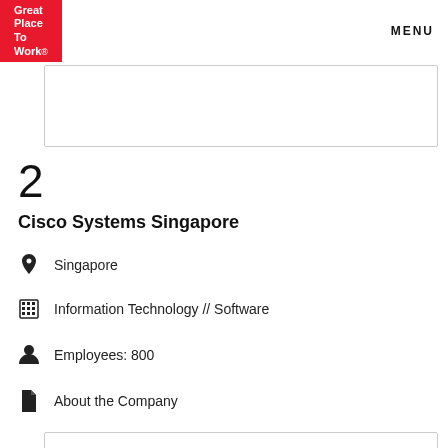Great Place To Work. MENU
[Figure (other): Gray bordered box (top card placeholder)]
2
Cisco Systems Singapore
Singapore
Information Technology // Software
Employees: 800
About the Company
[Figure (other): Gray bordered box (bottom card placeholder)]